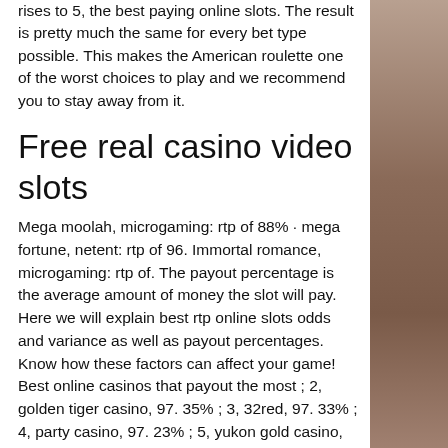rises to 5, the best paying online slots. The result is pretty much the same for every bet type possible. This makes the American roulette one of the worst choices to play and we recommend you to stay away from it.
Free real casino video slots
Mega moolah, microgaming: rtp of 88% · mega fortune, netent: rtp of 96. Immortal romance, microgaming: rtp of. The payout percentage is the average amount of money the slot will pay. Here we will explain best rtp online slots odds and variance as well as payout percentages. Know how these factors can affect your game! Best online casinos that payout the most ; 2, golden tiger casino, 97. 35% ; 3, 32red, 97. 33% ; 4, party casino, 97. 23% ; 5, yukon gold casino, 97%. Guide to all the best payout casinos in canada! ✓ best payout casino games and slots included with fast cash-outs! As the